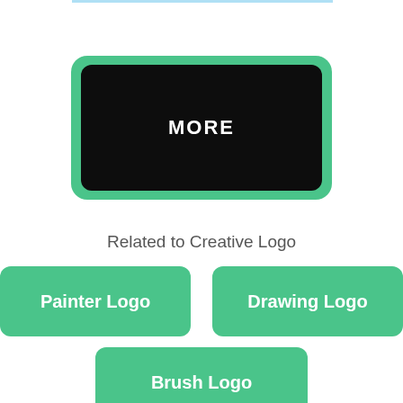[Figure (screenshot): A dark rectangular button with green rounded border showing the text MORE in white bold letters]
Related to Creative Logo
[Figure (screenshot): Green rounded button labeled Painter Logo]
[Figure (screenshot): Green rounded button labeled Drawing Logo]
[Figure (screenshot): Green rounded button labeled Brush Logo]
Creating a professional creative design is really easy with GraphicSprings' logo maker.